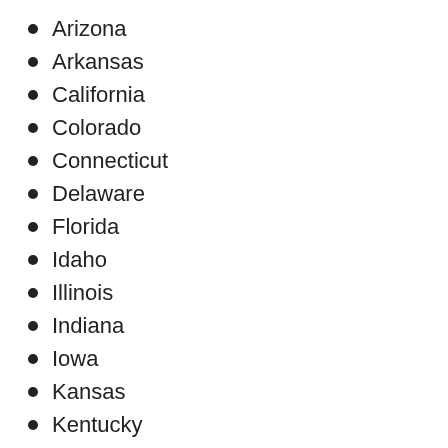Arizona
Arkansas
California
Colorado
Connecticut
Delaware
Florida
Idaho
Illinois
Indiana
Iowa
Kansas
Kentucky
Maine
Maryland